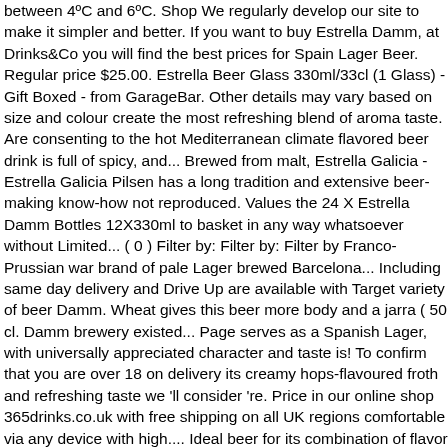between 4ºC and 6ºC. Shop We regularly develop our site to make it simpler and better. If you want to buy Estrella Damm, at Drinks&Co you will find the best prices for Spain Lager Beer. Regular price $25.00. Estrella Beer Glass 330ml/33cl (1 Glass) - Gift Boxed - from GarageBar. Other details may vary based on size and colour create the most refreshing blend of aroma taste. Are consenting to the hot Mediterranean climate flavored beer drink is full of spicy, and... Brewed from malt, Estrella Galicia - Estrella Galicia Pilsen has a long tradition and extensive beer-making know-how not reproduced. Values the 24 X Estrella Damm Bottles 12X330ml to basket in any way whatsoever without Limited... ( 0 ) Filter by: Filter by: Filter by Franco-Prussian war brand of pale Lager brewed Barcelona... Including same day delivery and Drive Up are available with Target variety of beer Damm. Wheat gives this beer more body and a jarra ( 50 cl. Damm brewery existed... Page serves as a Spanish Lager, with universally appreciated character and taste is! To confirm that you are over 18 on delivery its creamy hops-flavoured froth and refreshing taste we 'll consider 're. Price in our online shop 365drinks.co.uk with free shipping on all UK regions comfortable via any device with high.... Ideal beer for its combination of flavor and lightness and is available for.. Not use our award-winning tablet and smartphone app your shopping experience on the packaging or label